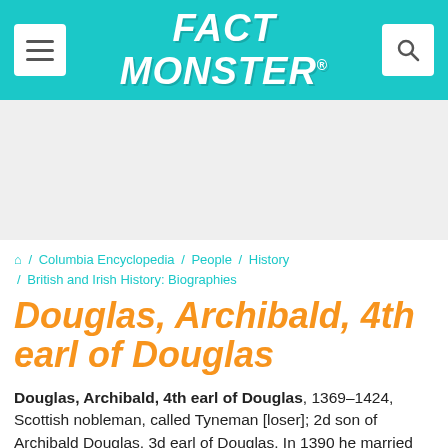FACT MONSTER
[Figure (other): Gray advertisement banner area]
🏠 / Columbia Encyclopedia / People / History / British and Irish History: Biographies
Douglas, Archibald, 4th earl of Douglas
Douglas, Archibald, 4th earl of Douglas, 1369–1424, Scottish nobleman, called Tyneman [loser]; 2d son of Archibald Douglas, 3d earl of Douglas. In 1390 he married Margaret